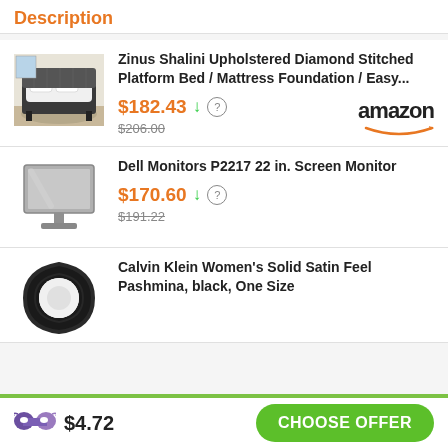Description
Zinus Shalini Upholstered Diamond Stitched Platform Bed / Mattress Foundation / Easy...
$182.43 ↓ ?
$206.00
amazon
Dell Monitors P2217 22 in. Screen Monitor
$170.60 ↓ ?
$191.22
Calvin Klein Women's Solid Satin Feel Pashmina, black, One Size
$4.72
CHOOSE OFFER